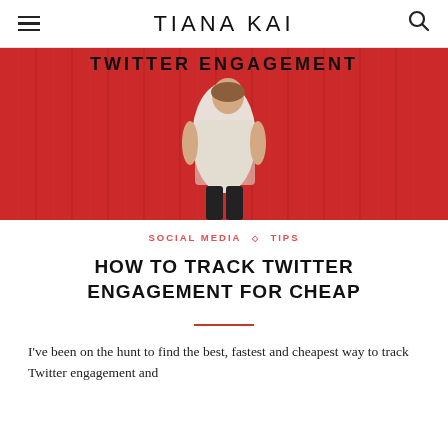TIANA KAI
[Figure (photo): Woman in white patterned sleeveless dress standing against a bright red wooden wall/fence. Text 'TWITTER ENGAGEMENT' visible at the top of the image in large bold letters.]
SOCIAL MEDIA ◇ TIPS
HOW TO TRACK TWITTER ENGAGEMENT FOR CHEAP
I've been on the hunt to find the best, fastest and cheapest way to track Twitter engagement and